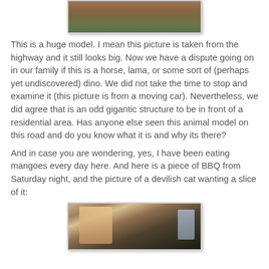[Figure (photo): Partial view of a large animal model/structure photographed from a moving car on a highway, with reddish-brown landscape in background]
This is a huge model. I mean this picture is taken from the highway and it still looks big. Now we have a dispute going on in our family if this is a horse, lama, or some sort of (perhaps yet undiscovered) dino. We did not take the time to stop and examine it (this picture is from a moving car). Nevertheless, we did agree that is an odd gigantic structure to be in front of a residential area. Has anyone else seen this animal model on this road and do you know what it is and why its there?
And in case you are wondering, yes, I have been eating mangoes every day here. And here is a piece of BBQ from Saturday night, and the picture of a devilish cat wanting a slice of it:
[Figure (photo): Photo of BBQ scene at night showing a person's legs and a cat on dark grass]